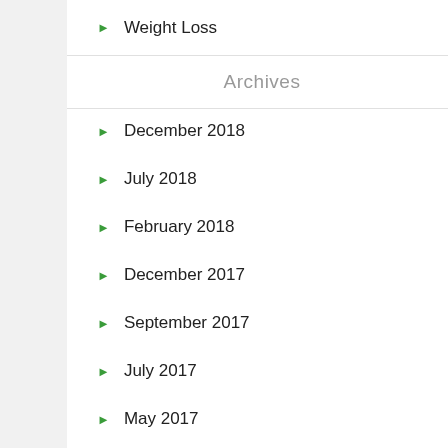Weight Loss
Archives
December 2018
July 2018
February 2018
December 2017
September 2017
July 2017
May 2017